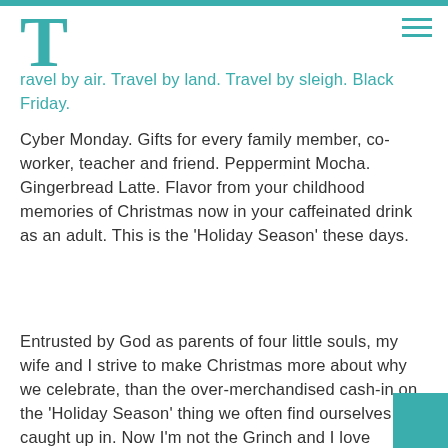Travel by air. Travel by land. Travel by sleigh. Black Friday. Cyber Monday. Gifts for every family member, co-worker, teacher and friend. Peppermint Mocha. Gingerbread Latte. Flavor from your childhood memories of Christmas now in your caffeinated drink as an adult. This is the 'Holiday Season' these days.
Entrusted by God as parents of four little souls, my wife and I strive to make Christmas more about why we celebrate, than the over-merchandised cash-in on the 'Holiday Season' thing we often find ourselves caught up in. Now I'm not the Grinch and I love yummy flavored coffee, traveling to see family, and getting gifts that will make others' eyes light up and set smiles on their faces. Still my wife and I hope Christmas will be a time of family togetherness that reflects on the birth of our Savior in a manger. We want our kids to understand that Christmas is not only getting gifts, but of giving gifts. As God gave us His Son, as the Magi gave gifts to Jesus, and as Jesus gave His life for us. To immerse our kids in this idea, we've started